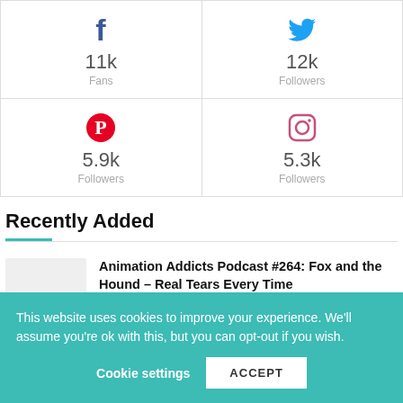| Facebook 11k Fans | Twitter 12k Followers |
| Pinterest 5.9k Followers | Instagram 5.3k Followers |
Recently Added
Animation Addicts Podcast #264: Fox and the Hound – Real Tears Every Time
AUGUST 23, 2022
This website uses cookies to improve your experience. We'll assume you're ok with this, but you can opt-out if you wish.
Cookie settings  ACCEPT